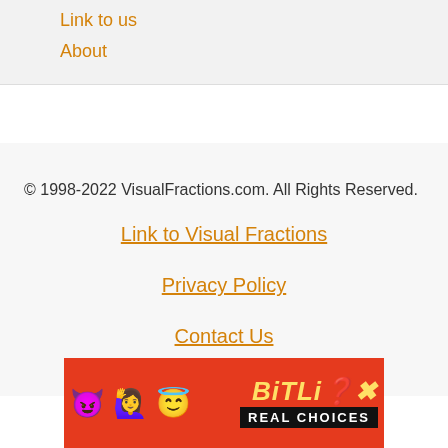Link to us
About
© 1998-2022 VisualFractions.com. All Rights Reserved.
Link to Visual Fractions
Privacy Policy
Contact Us
[Figure (photo): BitLife advertisement banner with emoji characters and text 'BitLife REAL CHOICES' on red background]